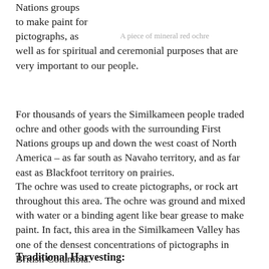Nations groups to make paint for pictographs, as well as for spiritual and ceremonial purposes that are very important to our people.
A piece of mineral red ochre
For thousands of years the Similkameen people traded ochre and other goods with the surrounding First Nations groups up and down the west coast of North America – as far south as Navaho territory, and as far east as Blackfoot territory on prairies.
The ochre was used to create pictographs, or rock art throughout this area. The ochre was ground and mixed with water or a binding agent like bear grease to make paint. In fact, this area in the Similkameen Valley has one of the densest concentrations of pictographs in British Columbia.
Traditional Harvesting: